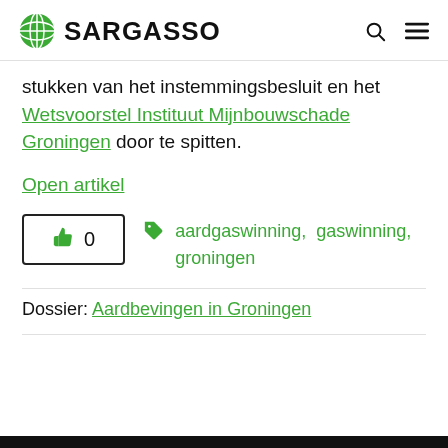SARGASSO
stukken van het instemmingsbesluit en het Wetsvoorstel Instituut Mijnbouwschade Groningen door te spitten.
Open artikel
👍 0   aardgaswinning, gaswinning, groningen
Dossier: Aardbevingen in Groningen